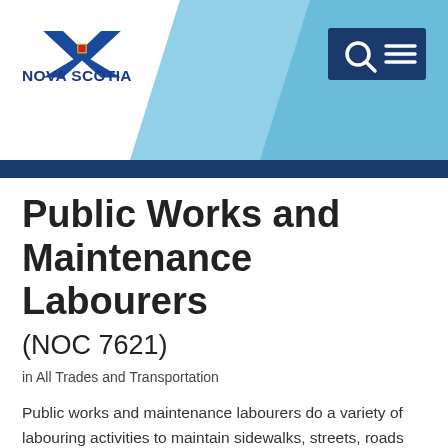[Figure (logo): Nova Scotia government logo with blue saltire emblem and 'NOVA SCOTIA' text in bold blue letters]
Public Works and Maintenance Labourers (NOC 7621)
in All Trades and Transportation
Public works and maintenance labourers do a variety of labouring activities to maintain sidewalks, streets, roads and similar areas. They work for public works departments in all levels of government or by private contractors under contract to governments.